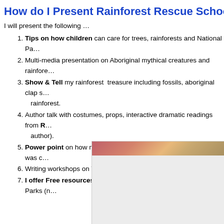How do I Present Rainforest Rescue School Vis…
I will present the following …
Tips on how children can care for trees, rainforests and National Pa…
Multi-media presentation on Aboriginal mythical creatures and rainfor…
Show & Tell my rainforest treasure including fossils, aboriginal clap s… rainforest.
Author talk with costumes, props, interactive dramatic readings from R… author).
Power point on how my eco warrior novel, Rainforest Rescue was c…
Writing workshops on Write a Rainforest Rescue story.
I offer Free resources to schools from Queensland National Parks (n…
[Figure (photo): Partial photo of a person or rainforest scene, cropped at top with red/pink and tan tones; lower portion is a light grey placeholder area.]